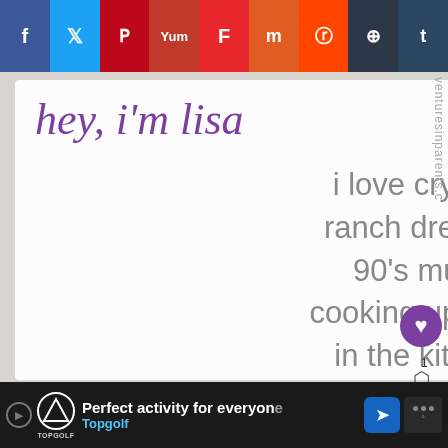[Figure (screenshot): Social media share bar with icons for Facebook, Twitter, Pinterest, Yummly, Flipboard, Mix, Reddit, Buffer/Layers, and Tumblr]
hey, i'm lisa
i love crystals, ranch dressing, 90's music, cooking up magic in the kitchen, and helping other parents live amazingly fun lives with
[Figure (screenshot): Advertisement banner: Perfect activity for everyone - Topgolf]
Perfect activity for everyone
Topgolf